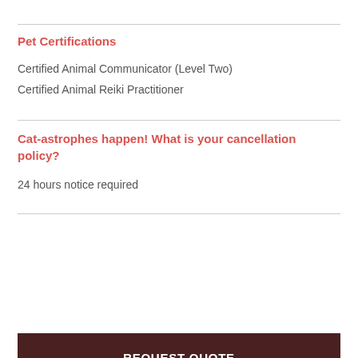Pet Certifications
Certified Animal Communicator (Level Two)
Certified Animal Reiki Practitioner
Cat-astrophes happen! What is your cancellation policy?
24 hours notice required
REQUEST QUOTE